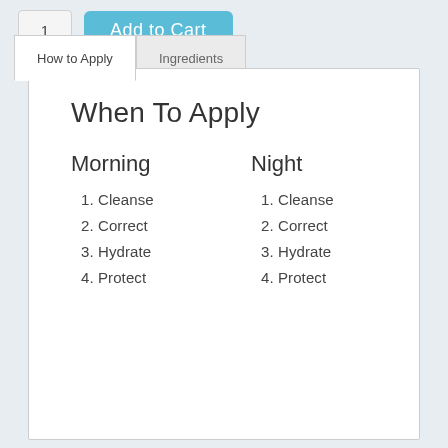1
Add to Cart
How to Apply
Ingredients
When To Apply
Morning
1. Cleanse
2. Correct
3. Hydrate
4. Protect
Night
1. Cleanse
2. Correct
3. Hydrate
4. Protect
Easy Application Steps